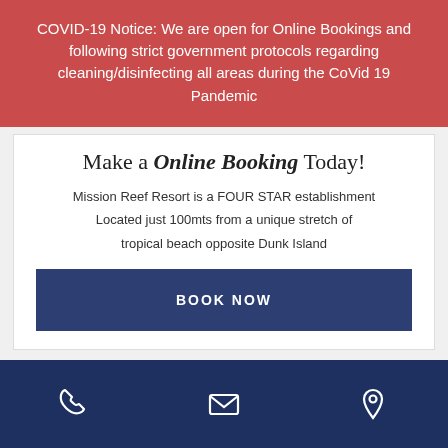COVID-19 Notice: We are open for Online Bookings and following strict government protocols regarding cleaning/disinfecting all areas during the CoVid 19 Pandemic
Make a Online Booking Today!
Mission Reef Resort is a FOUR STAR establishment Located just 100mts from a unique stretch of tropical beach opposite Dunk Island
BOOK NOW
[Figure (infographic): Footer bar with three icons: phone, envelope/mail, and map pin/location on dark navy background]